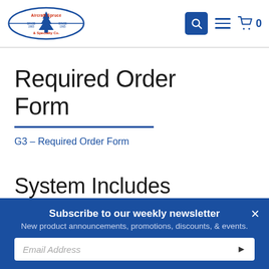Aircraft Spruce & Specialty Co. — search, menu, cart (0)
Required Order Form
G3 – Required Order Form
System Includes
Subscribe to our weekly newsletter
New product announcements, promotions, discounts, & events.
Email Address